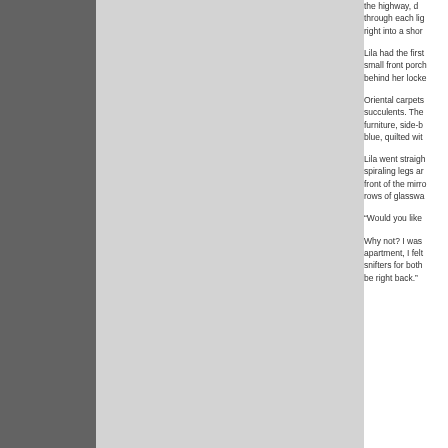the highway, d... through each lig... right into a shor...
Lila had the first... small front porch... behind her locke...
Oriental carpets... succulents. The... furniture, side-b... blue, quilted wit...
Lila went straigh... spiraling legs ar... front of the mirro... rows of glasswa...
“Would you like...
Why not? I was... apartment, I felt... snifters for both... be right back.”